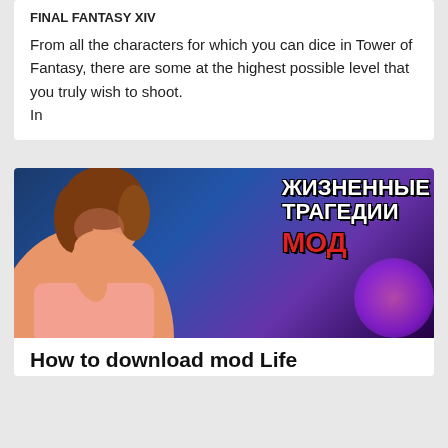FINAL FANTASY XIV
From all the characters for which you can dice in Tower of Fantasy, there are some at the highest possible level that you truly wish to shoot.
In
[Figure (photo): A Sims-style character covering mouth with hand, alongside Russian text reading ЖИЗНЕННЫЕ ТРАГЕДИИ МОД (Life Tragedies Mod) in white and red bold lettering on a colorful background]
How to download mod Life